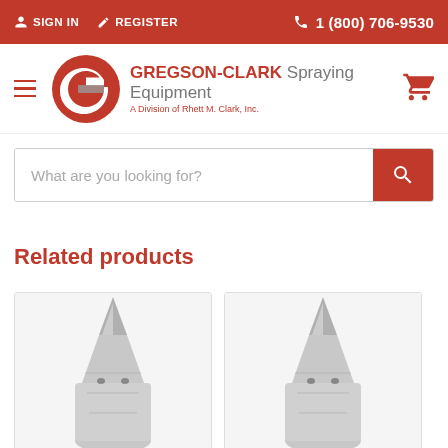SIGN IN  REGISTER  1 (800) 706-9530
[Figure (logo): Gregson-Clark Spraying Equipment logo with red G circle and text. A Division of Rhett M. Clark, Inc.]
What are you looking for?
Related products
[Figure (photo): Metal spray nozzle tip with conical point, viewed from front-top angle, showing two small holes near base]
[Figure (photo): Metal spray nozzle tip with conical point, viewed from front-top angle, showing two small holes near base]